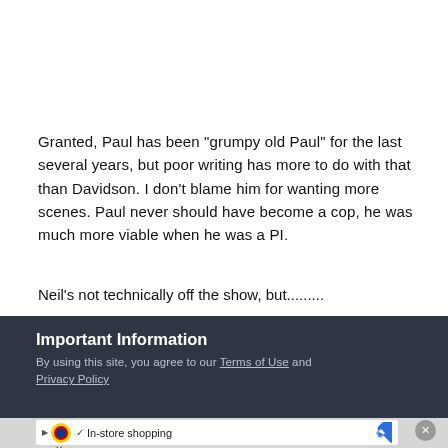Granted, Paul has been "grumpy old Paul" for the last several years, but poor writing has more to do with that than Davidson. I don't blame him for wanting more scenes. Paul never should have become a cop, he was much more viable when he was a PI.
Neil's not technically off the show, but.........
Important Information
By using this site, you agree to our Terms of Use and Privacy Policy
[Figure (other): Advertisement banner: Lidl logo with play/close buttons, checkmark, 'In-store shopping' text, and a blue diamond navigation icon. Close button (X) in grey circle on the right.]